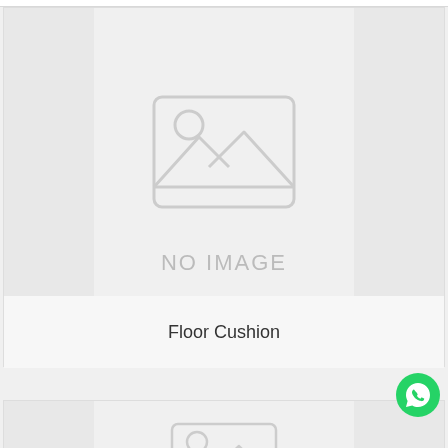[Figure (other): Product card with no image placeholder showing a landscape icon and 'NO IMAGE' text, with product title 'Floor Cushion' below]
NO IMAGE
Floor Cushion
[Figure (other): Second product card partially visible at bottom, showing no image placeholder with landscape icon, product title not visible]